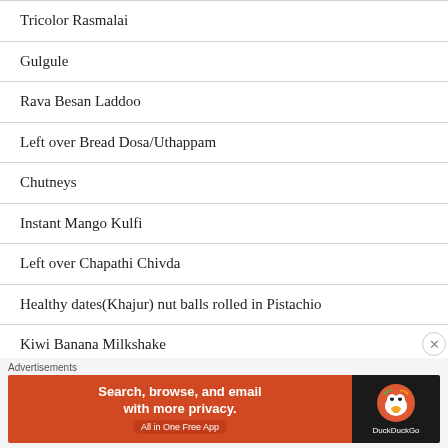Tricolor Rasmalai
Gulgule
Rava Besan Laddoo
Left over Bread Dosa/Uthappam
Chutneys
Instant Mango Kulfi
Left over Chapathi Chivda
Healthy dates(Khajur) nut balls rolled in Pistachio
Kiwi Banana Milkshake
[Figure (screenshot): DuckDuckGo advertisement banner: 'Search, browse, and email with more privacy. All in One Free App' with DuckDuckGo logo on dark background]